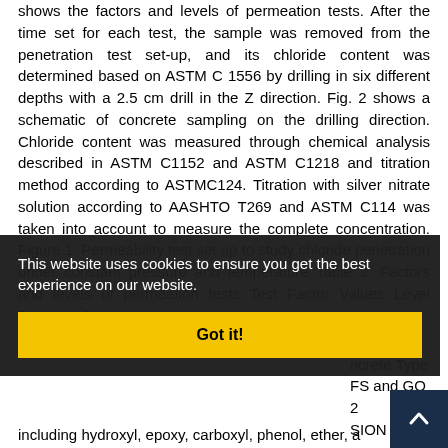shows the factors and levels of permeation tests. After the time set for each test, the sample was removed from the penetration test set-up, and its chloride content was determined based on ASTM C 1556 by drilling in six different depths with a 2.5 cm drill in the Z direction. Fig. 2 shows a schematic of concrete sampling on the drilling direction. Chloride content was measured through chemical analysis described in ASTM C1152 and ASTM C1218 and titration method according to ASTMC124. Titration with silver nitrate solution according to AASHTO T269 and ASTM C114 was taken into account to measure the complete concentration. Figure 1. Permeability test set up to study chloride penetration under constant pressure and temperature Table 2. Factors and levels of permeation tests Test Factor Values Level Pressure 0.1 ... 35 °C, 55 °C ... ncrete Type ... FS and GO 2 ... SION Fig. 3 ... nanoparticles ... s observed ... al grou... including hydroxyl, epoxy, carboxyl, phenol, ether, a
This website uses cookies to ensure you get the best experience on our website.